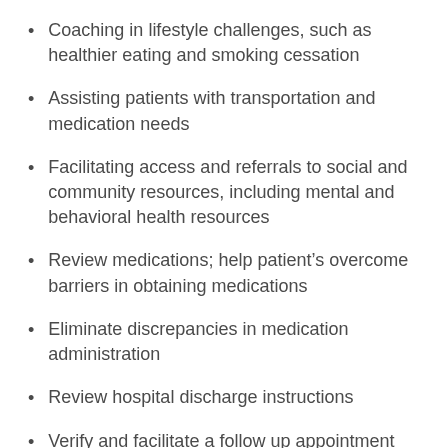Coaching in lifestyle challenges, such as healthier eating and smoking cessation
Assisting patients with transportation and medication needs
Facilitating access and referrals to social and community resources, including mental and behavioral health resources
Review medications; help patient’s overcome barriers in obtaining medications
Eliminate discrepancies in medication administration
Review hospital discharge instructions
Verify and facilitate a follow up appointment with the patient’s primary care physician